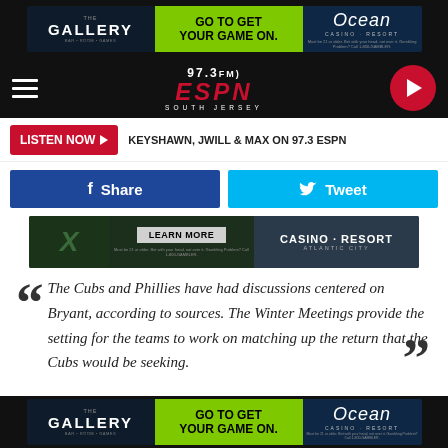[Figure (advertisement): The Gallery bar/room/games ad with Ocean Casino Resort - GO TO GET YOUR GAME ON.]
[Figure (logo): 97.3 FM ESPN South Jersey radio station logo with hamburger menu and play button]
LISTEN NOW ▶  KEYSHAWN, JWILL & MAX ON 97.3 ESPN
[Figure (infographic): Facebook Share button and Twitter Tweet button]
[Figure (advertisement): Ocean Casino Resort Atlantic City banner ad - LEARN MORE, CASINO RESORT ATLANTIC CITY]
The Cubs and Phillies have had discussions centered on Bryant, according to sources. The Winter Meetings provide the setting for the teams to work on matching up the return that the Cubs would be seeking.
[Figure (advertisement): The Gallery bar ad with Ocean Casino Resort - GO TO GET YOUR GAME ON. (bottom)]